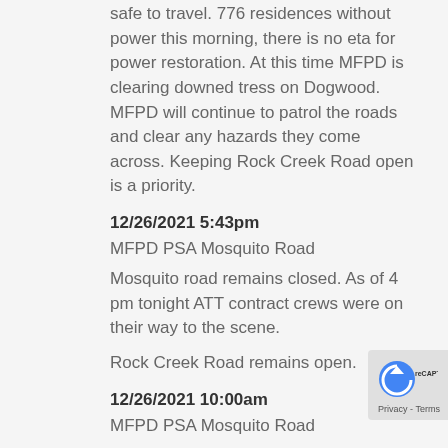safe to travel. 776 residences without power this morning, there is no eta for power restoration. At this time MFPD is clearing downed tress on Dogwood. MFPD will continue to patrol the roads and clear any hazards they come across. Keeping Rock Creek Road open is a priority.
12/26/2021 5:43pm
MFPD PSA Mosquito Road
Mosquito road remains closed. As of 4 pm tonight ATT contract crews were on their way to the scene.
Rock Creek Road remains open.
12/26/2021 10:00am
MFPD PSA Mosquito Road
Mosquito road remains closed. Chief Rosevear has been in contact with ATT County Rep this morning who said that more information will be coming out shortly. MFPD will continue to monitor the situation and we will post information as we receive it from ATT.